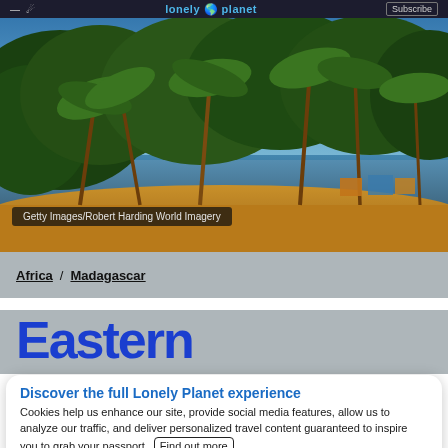≡ 🔍   lonely planet   Subscribe
[Figure (photo): Tropical beach scene with palm trees, sandy shore, and calm blue water, sunset lighting. Lonely Planet travel photo.]
Getty Images/Robert Harding World Imagery
Africa / Madagascar
Eastern
Discover the full Lonely Planet experience
Cookies help us enhance our site, provide social media features, allow us to analyze our traffic, and deliver personalized travel content guaranteed to inspire you to grab your passport. Find out more